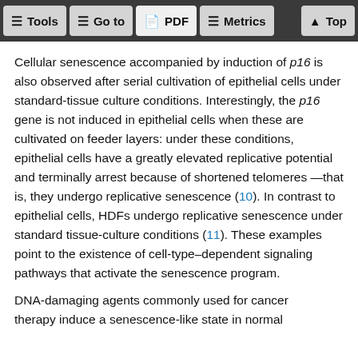Tools | Go to | PDF | Metrics | Top
Cellular senescence accompanied by induction of p16 is also observed after serial cultivation of epithelial cells under standard-tissue culture conditions. Interestingly, the p16 gene is not induced in epithelial cells when these are cultivated on feeder layers: under these conditions, epithelial cells have a greatly elevated replicative potential and terminally arrest because of shortened telomeres —that is, they undergo replicative senescence (10). In contrast to epithelial cells, HDFs undergo replicative senescence under standard tissue-culture conditions (11). These examples point to the existence of cell-type–dependent signaling pathways that activate the senescence program.
DNA-damaging agents commonly used for cancer therapy induce a senescence-like state in normal